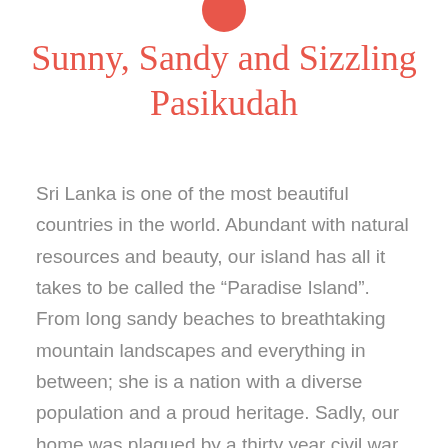[Figure (illustration): Small red/coral teardrop or circle shape icon at the top center of the page]
Sunny, Sandy and Sizzling Pasikudah
Sri Lanka is one of the most beautiful countries in the world. Abundant with natural resources and beauty, our island has all it takes to be called the “Paradise Island”. From long sandy beaches to breathtaking mountain landscapes and everything in between; she is a nation with a diverse population and a proud heritage. Sadly, our home was plagued by a thirty year civil war. Beautiful locations in the island were unreachable, whilst many resources were made unusable and precious human lives were destroyed. But that’s all in the past! Since the end of